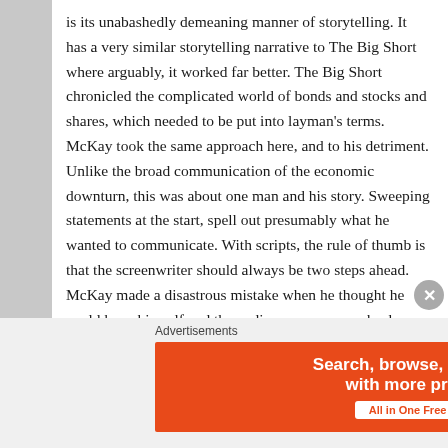is its unabashedly demeaning manner of storytelling. It has a very similar storytelling narrative to The Big Short where arguably, it worked far better. The Big Short chronicled the complicated world of bonds and stocks and shares, which needed to be put into layman's terms. McKay took the same approach here, and to his detriment. Unlike the broad communication of the economic downturn, this was about one man and his story. Sweeping statements at the start, spell out presumably what he wanted to communicate. With scripts, the rule of thumb is that the screenwriter should always be two steps ahead. McKay made a disastrous mistake when he thought he could keep himself and the audience on an even keel throughout.
Advertisements
[Figure (infographic): DuckDuckGo advertisement banner. Left side is orange/red with white text 'Search, browse, and email with more privacy.' and a white button 'All in One Free App'. Right side is dark/black with DuckDuckGo duck logo and text 'DuckDuckGo'.]